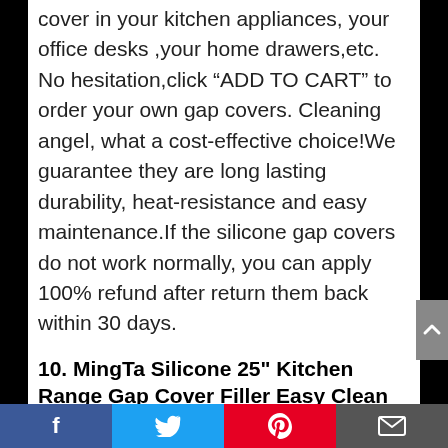cover in your kitchen appliances, your office desks ,your home drawers,etc.
No hesitation,click “ADD TO CART” to order your own gap covers. Cleaning angel, what a cost-effective choice!We guarantee they are long lasting durability, heat-resistance and easy maintenance.If the silicone gap covers do not work normally, you can apply 100% refund after return them back within 30 days.
10. MingTa Silicone 25" Kitchen Range Gap Cover Filler Easy Clean Heat Resistant Wide & Long Gap Filler, Seals Spills Between Counter
f  Twitter  Pinterest  Email